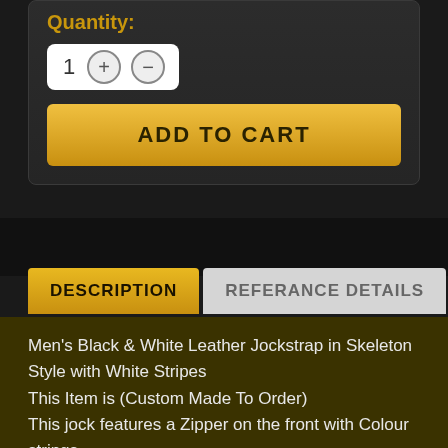Quantity:
1 + −
ADD TO CART
DESCRIPTION
REFERANCE DETAILS
Men's Black & White Leather Jockstrap in Skeleton Style with White Stripes
This Item is (Custom Made To Order)
This jock features a Zipper on the front with Colour strings